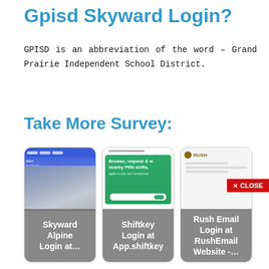Gpisd Skyward Login?
GPISD is an abbreviation of the word – Grand Prairie Independent School District.
Take More Survey:
[Figure (screenshot): Three card-style screenshots: 1) Skyward Alpine Login at... - showing a school website with students photo and blue header. 2) Shiftkey Login at App.shiftkey - showing a green app interface with 'Browse, request & work nearby PRN shifts.' 3) Rush Email Login at RushEmail Website -... - showing the RUSH logo and a document page.]
[Figure (other): Red CLOSE button in the bottom right corner]